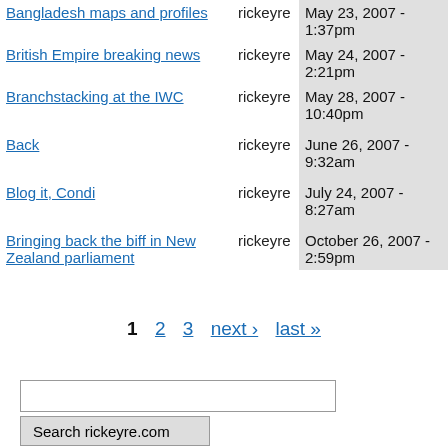| Title | User | Date |
| --- | --- | --- |
| Bangladesh maps and profiles | rickeyre | May 23, 2007 - 1:37pm |
| British Empire breaking news | rickeyre | May 24, 2007 - 2:21pm |
| Branchstacking at the IWC | rickeyre | May 28, 2007 - 10:40pm |
| Back | rickeyre | June 26, 2007 - 9:32am |
| Blog it, Condi | rickeyre | July 24, 2007 - 8:27am |
| Bringing back the biff in New Zealand parliament | rickeyre | October 26, 2007 - 2:59pm |
1  2  3  next ›  last »